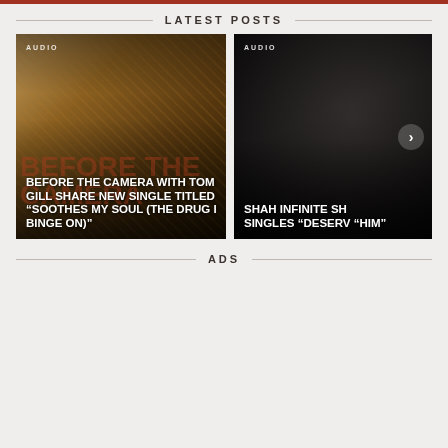LATEST POSTS
[Figure (photo): Left post card: colorful image of a performer with painted face, text overlay reading AUDIO and article title 'BEFORE THE CAMERA WITH TOM GILL SHARE NEW SINGLE TITLED “SOOTHES MY SOUL (THE DRUG I BINGE ON)”']
[Figure (photo): Right post card: black and white artistic photo, text overlay reading AUDIO and partial article title 'SHAH INFINITE SH SINGLES “DESERV “HIM”']
ADS